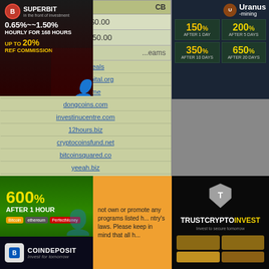[Figure (advertisement): Superbit investment banner: 0.65%~~1.50% hourly for 168 hours, up to 20% ref commission]
CB
800% + $0.00
100% + $50.00
...eams
coyote-deals
advanta-capital.org
polinur.me
dongcoins.com
investinucentre.com
12hours.biz
cryptocoinsfund.net
bitcoinsquared.co
yeeah.biz
4deposit.biz
Top Investors
List your non rotating banners here
[Figure (advertisement): Uranus Mining banner: 150% after 1 day, 200% after 5 days, 350% after 10 days, 650% after 20 days]
[Figure (advertisement): 600% after 1 hour green banner]
not own or promote any programs listed here. Please follow your country's laws. Please keep in mind that all h...
[Figure (advertisement): TrustCryptoInvest - Invest to secure tomorrow]
[Figure (advertisement): CoinDeposit - Invest for tomorrow]